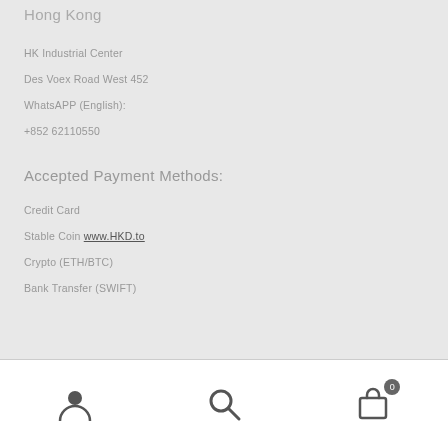Hong Kong
HK Industrial Center
Des Voex Road West 452
WhatsAPP (English):
+852 62110550
Accepted Payment Methods:
Credit Card
Stable Coin www.HKD.to
Crypto (ETH/BTC)
Bank Transfer (SWIFT)
User icon | Search icon | Cart icon (0)